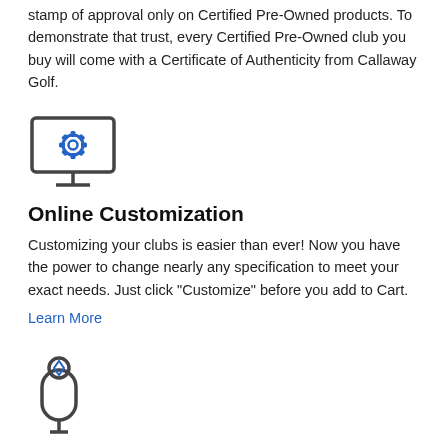stamp of approval only on Certified Pre-Owned products. To demonstrate that trust, every Certified Pre-Owned club you buy will come with a Certificate of Authenticity from Callaway Golf.
[Figure (illustration): Icon of a computer monitor with a gear/settings cog symbol in blue on the screen]
Online Customization
Customizing your clubs is easier than ever! Now you have the power to change nearly any specification to meet your exact needs. Just click "Customize" before you add to Cart.
Learn More
[Figure (illustration): Icon of a golf headcover shaped like a bag/key shape with a blue diamond symbol at the top]
Free Headcover
A free headcover is included with every Callaway Golf driver, fairway wood or hybrid purchase.